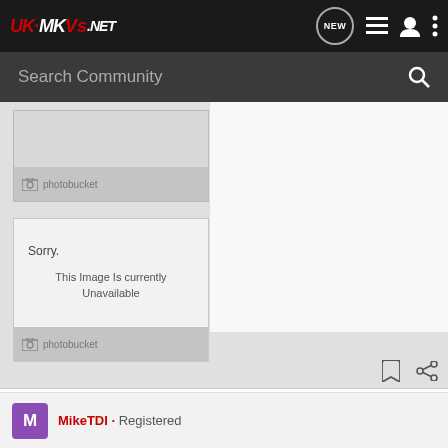UK-MKVs.NET · NEW · navigation icons
Search Community
[Figure (screenshot): Photobucket image placeholder (top) — camera icon with 'photobucket' text on grey footer, image area blank]
[Figure (screenshot): Photobucket unavailable image box showing 'Sorry.' and 'This Image Is Currently Unavailable' with photobucket footer]
MikeTDI · Registered